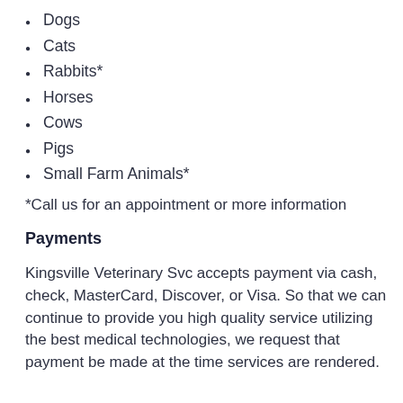Dogs
Cats
Rabbits*
Horses
Cows
Pigs
Small Farm Animals*
*Call us for an appointment or more information
Payments
Kingsville Veterinary Svc accepts payment via cash, check, MasterCard, Discover, or Visa. So that we can continue to provide you high quality service utilizing the best medical technologies, we request that payment be made at the time services are rendered.